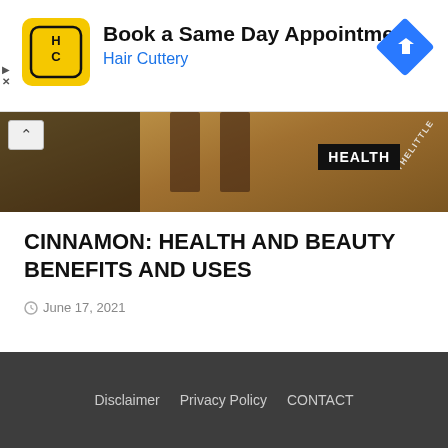[Figure (other): Hair Cuttery advertisement banner with yellow logo, text 'Book a Same Day Appointment / Hair Cuttery', and a blue diamond direction sign icon]
[Figure (photo): Partial hero image showing person's legs/feet on wooden floor with HEALTH tag overlay and THELITTLE text watermark]
CINNAMON: HEALTH AND BEAUTY BENEFITS AND USES
June 17, 2021
Disclaimer   Privacy Policy   CONTACT